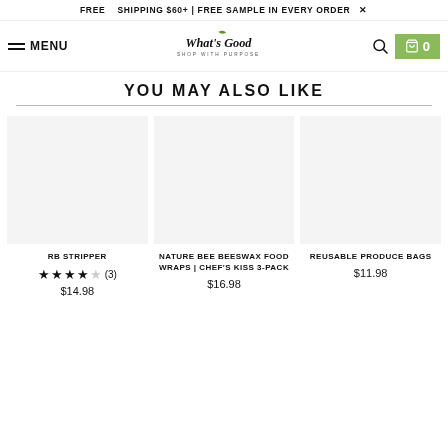FREE  SHIPPING $60+ | FREE SAMPLE IN EVERY ORDER ×
MENU  What's Good SHOP WITH PURPOSE  🔍  🛒 0
YOU MAY ALSO LIKE
[Figure (photo): Product image placeholder for RB Stripper]
RB STRIPPER ★★★★☆ (3) $14.98
[Figure (photo): Product image placeholder for Nature Bee Beeswax Food Wraps]
NATURE BEE BEESWAX FOOD WRAPS | CHEF'S KISS 3-PACK $16.98
[Figure (photo): Product image placeholder for Reusable Produce Bags]
REUSABLE PRODUCE BAGS $11.98